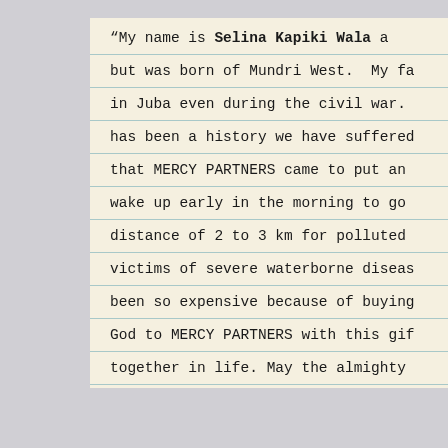“My name is Selina Kapiki Wala a but was born of Mundri West. My fa in Juba even during the civil war. has been a history we have suffered that MERCY PARTNERS came to put an wake up early in the morning to go distance of 2 to 3 km for polluted victims of severe waterborne diseas been so expensive because of buying God to MERCY PARTNERS with this gif together in life. May the almighty among you. Amen.”